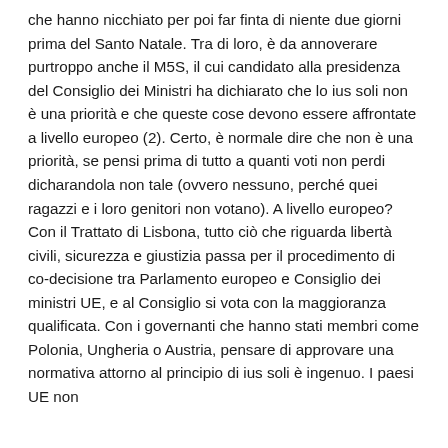che hanno nicchiato per poi far finta di niente due giorni prima del Santo Natale. Tra di loro, è da annoverare purtroppo anche il M5S, il cui candidato alla presidenza del Consiglio dei Ministri ha dichiarato che lo ius soli non è una priorità e che queste cose devono essere affrontate a livello europeo (2). Certo, è normale dire che non è una priorità, se pensi prima di tutto a quanti voti non perdi dicharandola non tale (ovvero nessuno, perché quei ragazzi e i loro genitori non votano). A livello europeo? Con il Trattato di Lisbona, tutto ciò che riguarda libertà civili, sicurezza e giustizia passa per il procedimento di co-decisione tra Parlamento europeo e Consiglio dei ministri UE, e al Consiglio si vota con la maggioranza qualificata. Con i governanti che hanno stati membri come Polonia, Ungheria o Austria, pensare di approvare una normativa attorno al principio di ius soli è ingenuo. I paesi UE non